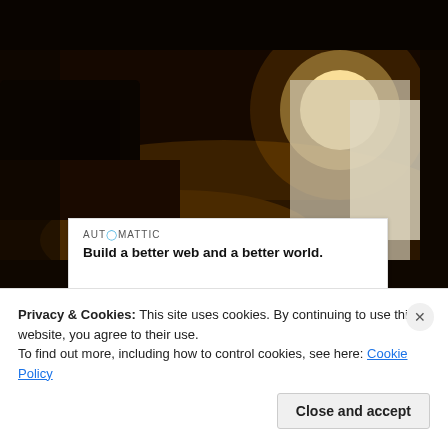[Figure (photo): Dark nighttime outdoor scene showing a vehicle, ground, and a bright light source, with very dark surroundings]
[Figure (screenshot): Automattic advertisement banner: logo reads 'AUTOMATTIC' with colored O, tagline 'Build a better web and a better world.']
REPORT THIS AD
Privacy & Cookies: This site uses cookies. By continuing to use this website, you agree to their use.
To find out more, including how to control cookies, see here: Cookie Policy
Close and accept